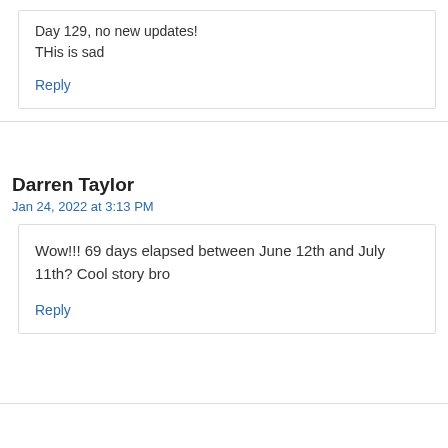Day 129, no new updates!
THis is sad
Reply
Darren Taylor
Jan 24, 2022 at 3:13 PM
Wow!!! 69 days elapsed between June 12th and July 11th? Cool story bro
Reply